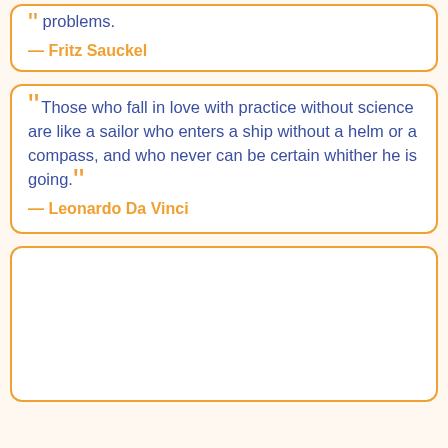problems.
— Fritz Sauckel
“Those who fall in love with practice without science are like a sailor who enters a ship without a helm or a compass, and who never can be certain whither he is going.”
— Leonardo Da Vinci